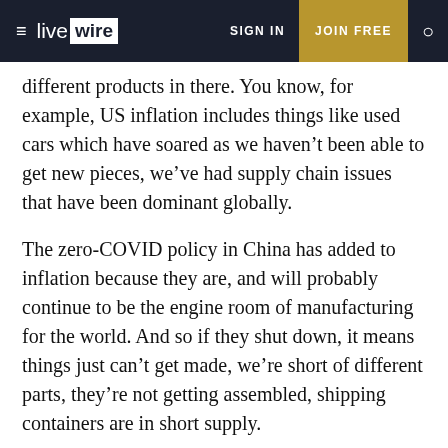≡ livewire   SIGN IN   JOIN FREE   🔍
different products in there. You know, for example, US inflation includes things like used cars which have soared as we haven't been able to get new pieces, we've had supply chain issues that have been dominant globally.
The zero-COVID policy in China has added to inflation because they are, and will probably continue to be the engine room of manufacturing for the world. And so if they shut down, it means things just can't get made, we're short of different parts, they're not getting assembled, shipping containers are in short supply.
So what does that mean for the rest of the year? Well, it will stay high for a little bit, where it will settle, will